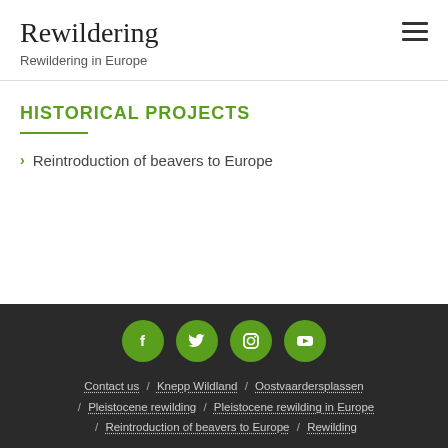Rewildering
Rewildering in Europe
HISTORICAL PROJECTS
Reintroduction of beavers to Europe
Contact us / Knepp Wildland / Oostvaardersplassen / Pleistocene rewilding / Pleistocene rewilding in Europe / Reintroduction of beavers to Europe / Rewilding